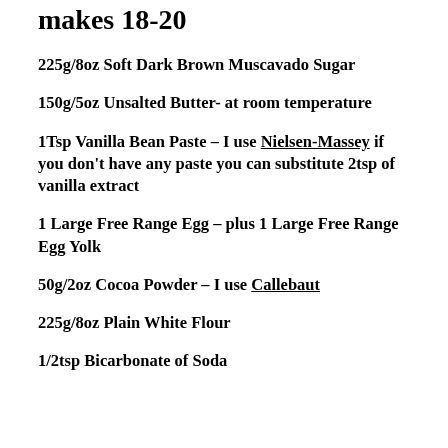makes 18-20
225g/8oz Soft Dark Brown Muscavado Sugar
150g/5oz Unsalted Butter- at room temperature
1Tsp Vanilla Bean Paste – I use Nielsen-Massey if you don't have any paste you can substitute 2tsp of vanilla extract
1 Large Free Range Egg – plus 1 Large Free Range Egg Yolk
50g/2oz Cocoa Powder – I use Callebaut
225g/8oz Plain White Flour
1/2tsp Bicarbonate of Soda